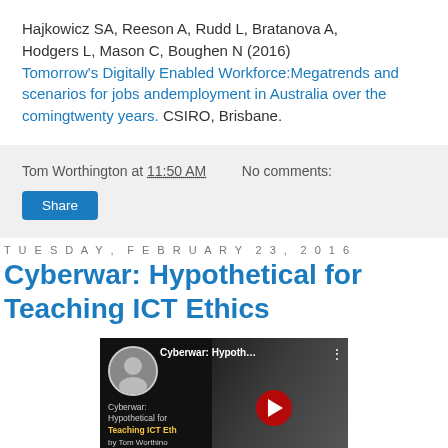Hajkowicz SA, Reeson A, Rudd L, Bratanova A, Hodgers L, Mason C, Boughen N (2016) Tomorrow's Digitally Enabled Workforce:Megatrends and scenarios for jobs andemployment in Australia over the comingtwenty years. CSIRO, Brisbane.
Tom Worthington at 11:50 AM   No comments:
Share
Tuesday, February 23, 2016
Cyberwar: Hypothetical for Teaching ICT Ethics
[Figure (screenshot): YouTube video thumbnail for 'Cyberwar: Hypothetical for Teaching ICT Ethics' by Tom Worthington, showing video title card with profile avatar, video title text, and partial play button over a dark background with a person's face visible.]